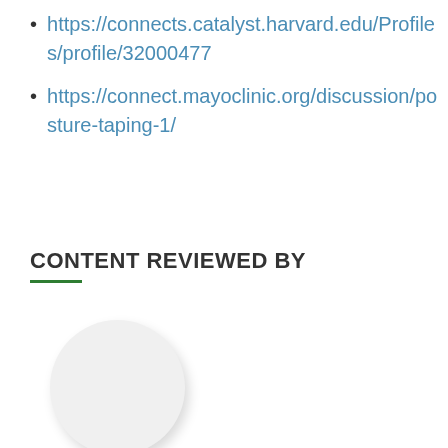https://connects.catalyst.harvard.edu/Profiles/profile/32000477
https://connect.mayoclinic.org/discussion/posture-taping-1/
CONTENT REVIEWED BY
[Figure (photo): Circular avatar placeholder image, white/light gray circle with drop shadow]